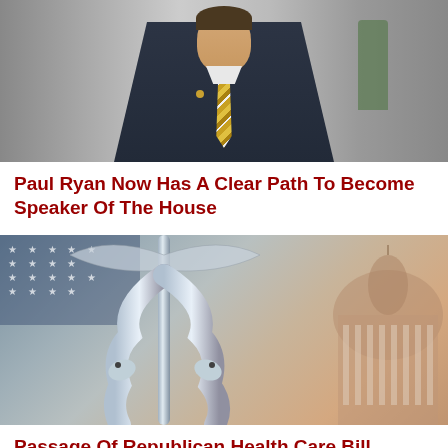[Figure (photo): Man in dark suit with gold/yellow striped tie, appears to be Paul Ryan walking in a hallway]
Paul Ryan Now Has A Clear Path To Become Speaker Of The House
[Figure (photo): Composite image of a caduceus (medical symbol with two snakes) overlaid on the US Capitol building and American flag imagery]
Passage Of Republican Health Care Bill Looking Less Likely